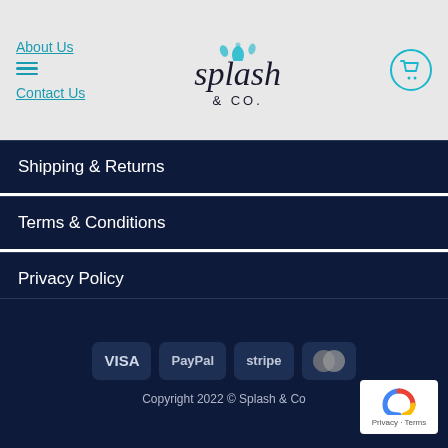About Us | Contact Us | splash & co.
Shipping & Returns
Terms & Conditions
Privacy Policy
Follow Us
VISA PayPal stripe MasterCard | Copyright 2022 © Splash & Co